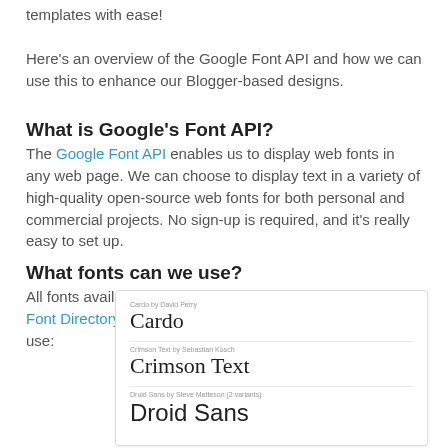templates with ease!
Here's an overview of the Google Font API and how we can use this to enhance our Blogger-based designs.
What is Google's Font API?
The Google Font API enables us to display web fonts in any web page. We can choose to display text in a variety of high-quality open-source web fonts for both personal and commercial projects. No sign-up is required, and it's really easy to set up.
What fonts can we use?
All fonts available for use with the API are listed in Google's Font Directory. Here's a few examples of the styles we can use:
[Figure (screenshot): A font preview panel showing three fonts: Cardo, Crimson Text, and Droid Sans, each with small metadata text above the font name.]